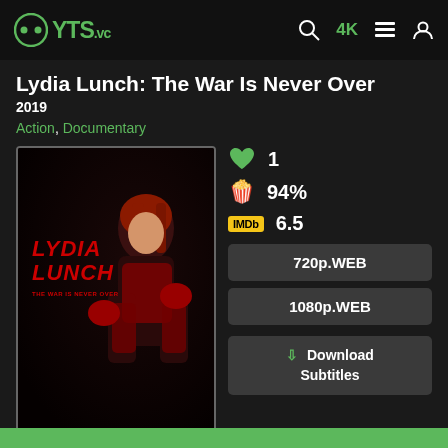YTS.vc — navigation header with search, 4K, list, and user icons
Lydia Lunch: The War Is Never Over
2019
Action, Documentary
[Figure (illustration): Movie poster for Lydia Lunch: The War Is Never Over. Red text LYDIA LUNCH with subtitle THE WAR IS NEVER OVER, woman in red clothing with boxing gloves on dark background.]
1 (likes)
94% (Rotten Tomatoes)
IMDb 6.5
720p.WEB
1080p.WEB
Download Subtitles